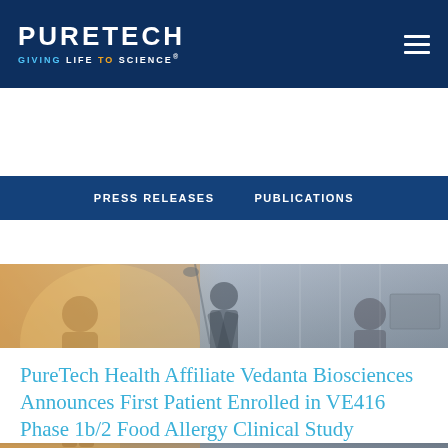PURETECH — GIVING LIFE TO SCIENCE®
PRESS RELEASES   PUBLICATIONS
[Figure (photo): Black and white photo of people working in an office/lab setting with warm orange light on the left side. Overlaid text reads 'News Release Details'.]
PureTech Health Affiliate Vedanta Biosciences Announces First Patient Enrolled in VE416 Phase 1b/2 Food Allergy Clinical Study